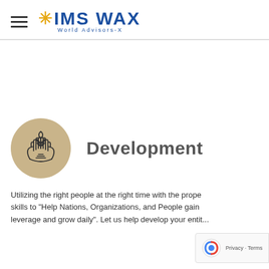IMS WAX World Advisors-X
[Figure (logo): IMS WAX logo with gold star and blue text 'IMS WAX' with subtitle 'World Advisors-X']
[Figure (illustration): Hands holding a plant/sprout inside a tan/beige circle, representing development icon]
Development
Utilizing the right people at the right time with the proper skills to "Help Nations, Organizations, and People gain leverage and grow daily". Let us help develop your entity...